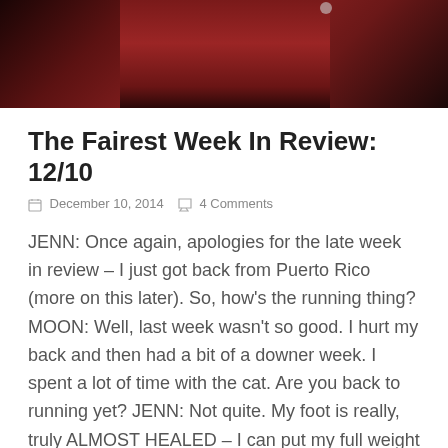[Figure (photo): Dark photo banner showing a person in a red/maroon outfit, cropped to show torso area against a dark background]
The Fairest Week In Review: 12/10
December 10, 2014   4 Comments
JENN: Once again, apologies for the late week in review – I just got back from Puerto Rico (more on this later). So, how's the running thing? MOON: Well, last week wasn't so good. I hurt my back and then had a bit of a downer week. I spent a lot of time with the cat. Are you back to running yet? JENN: Not quite. My foot is really, truly ALMOST HEALED – I can put my full weight on it and then rise on my toes and everything! But it still feels a little sore occasionally so I'm waiting until...